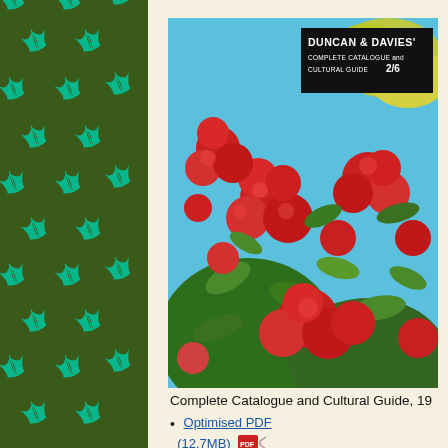[Figure (illustration): Dark olive green background with repeating pattern of teal/cyan fern fronds arranged in a grid across the left panel]
[Figure (photo): Cover of Duncan & Davies Complete Catalogue and Cultural Guide showing bright red rhododendron flowers against a blue sky with yellow-green foliage. Black label in top right reads 'DUNCAN & DAVIES' COMPLETE CATALOGUE and CULTURAL GUIDE 2/6']
Complete Catalogue and Cultural Guide, 19
Optimised PDF (12.7MB)